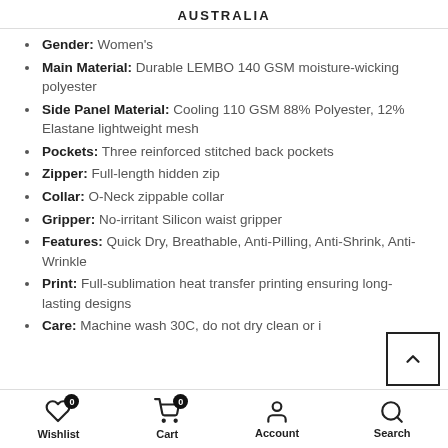AUSTRALIA
Gender: Women's
Main Material: Durable LEMBO 140 GSM moisture-wicking polyester
Side Panel Material: Cooling 110 GSM 88% Polyester, 12% Elastane lightweight mesh
Pockets: Three reinforced stitched back pockets
Zipper: Full-length hidden zip
Collar: O-Neck zippable collar
Gripper: No-irritant Silicon waist gripper
Features: Quick Dry, Breathable, Anti-Pilling, Anti-Shrink, Anti-Wrinkle
Print: Full-sublimation heat transfer printing ensuring long-lasting designs
Care: Machine wash 30C, do not dry clean or i
Wishlist 0  Cart 0  Account  Search